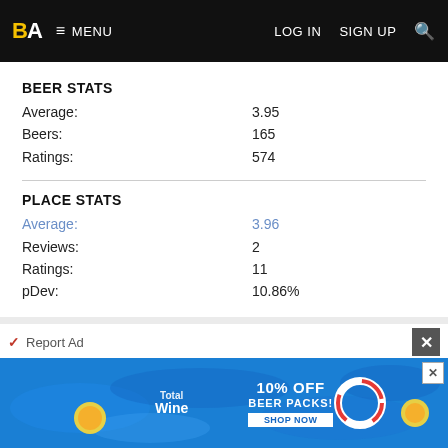BA  MENU  LOG IN  SIGN UP
BEER STATS
Average: 3.95
Beers: 165
Ratings: 574
PLACE STATS
Average: 3.96
Reviews: 2
Ratings: 11
pDev: 10.86%
View: Beers | Place Reviews
You've reviewed 0 beers from this brewery.
List
[Figure (screenshot): Total Wine advertisement banner: 10% OFF BEER PACKS with pool background and floating beer bottle graphics]
Report Ad